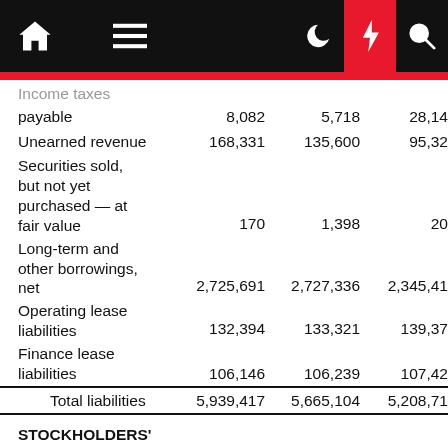Income taxes payable | Unearned revenue | Securities sold, but not yet purchased — at fair value | Long-term and other borrowings, net | Operating lease liabilities | Finance lease liabilities | Total liabilities | STOCKHOLDERS' EQUITY:
|  | Col1 | Col2 | Col3 |
| --- | --- | --- | --- |
| Income taxes payable | 8,082 | 5,718 | 28,14… |
| Unearned revenue | 168,331 | 135,600 | 95,32… |
| Securities sold, but not yet purchased — at fair value | 170 | 1,398 | 20… |
| Long-term and other borrowings, net | 2,725,691 | 2,727,336 | 2,345,41… |
| Operating lease liabilities | 132,394 | 133,321 | 139,37… |
| Finance lease liabilities | 106,146 | 106,239 | 107,42… |
| Total liabilities | 5,939,417 | 5,665,104 | 5,208,71… |
STOCKHOLDERS' EQUITY: